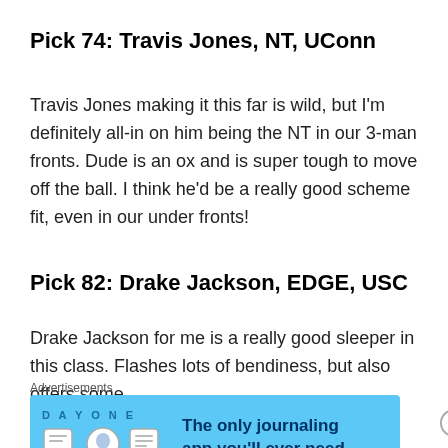Pick 74: Travis Jones, NT, UConn
Travis Jones making it this far is wild, but I'm definitely all-in on him being the NT in our 3-man fronts. Dude is an ox and is super tough to move off the ball. I think he'd be a really good scheme fit, even in our under fronts!
Pick 82: Drake Jackson, EDGE, USC
Drake Jackson for me is a really good sleeper in this class. Flashes lots of bendiness, but also offers some
Advertisements
[Figure (other): Day One journaling app advertisement banner with blue background, app icons, and text 'The only journaling app you'll ever need.']